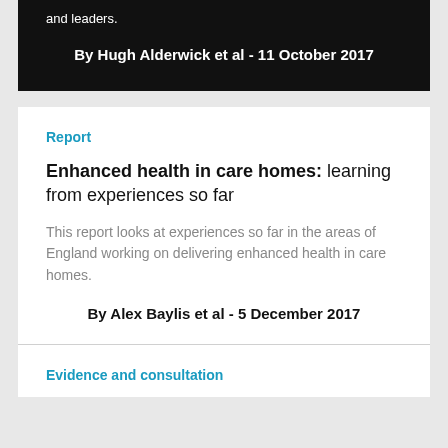and leaders.
By Hugh Alderwick et al - 11 October 2017
Report
Enhanced health in care homes: learning from experiences so far
This report looks at experiences so far in the areas of England working on delivering enhanced health in care homes.
By Alex Baylis et al - 5 December 2017
Evidence and consultation